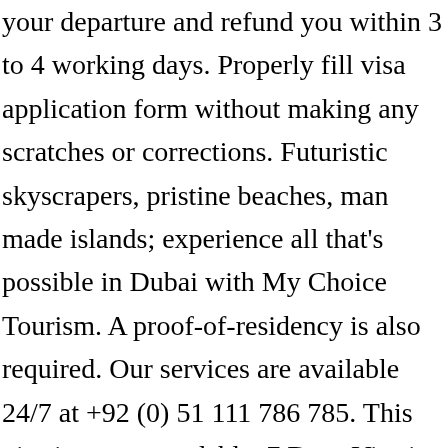your departure and refund you within 3 to 4 working days. Properly fill visa application form without making any scratches or corrections. Futuristic skyscrapers, pristine beaches, man made islands; experience all that's possible in Dubai with My Choice Tourism. A proof-of-residency is also required. Our services are available 24/7 at +92 (0) 51 111 786 785. This visa is non-extendable. 7 Days Visa is recommended for a Short visit to Dubai. If you are travelling to Dubai as a tourist, you will need a single entry short term tourist visa valid for 30 days. Whether you want to